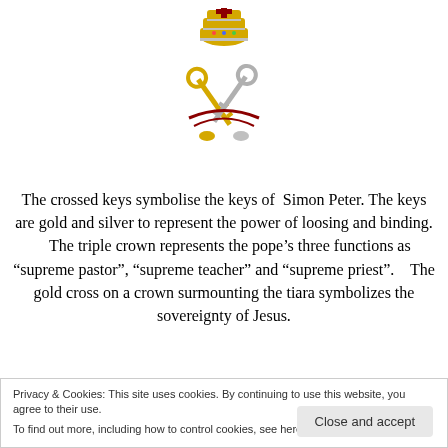[Figure (illustration): Papal coat of arms showing crossed keys (gold and silver) with a triple crown (tiara) on top and a red cross, against a white background.]
The crossed keys symbolise the keys of Simon Peter. The keys are gold and silver to represent the power of loosing and binding.   The triple crown represents the pope’s three functions as “supreme pastor”, “supreme teacher” and “supreme priest”.   The gold cross on a crown surmounting the tiara symbolizes the sovereignty of Jesus.
Privacy & Cookies: This site uses cookies. By continuing to use this website, you agree to their use.
To find out more, including how to control cookies, see here: Cookie Policy
The term Pope was originally applied to all the bishops